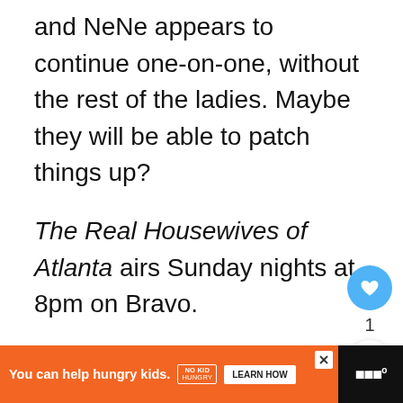and NeNe appears to continue one-on-one, without the rest of the ladies. Maybe they will be able to patch things up?
The Real Housewives of Atlanta airs Sunday nights at 8pm on Bravo.
(Image courtesy of Bravo)
[Figure (infographic): Social media widget with heart/like button showing count of 1, and a share button below]
[Figure (infographic): What's Next card showing thumbnail image and text '12 Best Sniper Movies You...']
[Figure (infographic): Advertisement banner: orange background with 'You can help hungry kids.' text, No Kid Hungry logo, Learn How button, and Wired logo on dark right side]